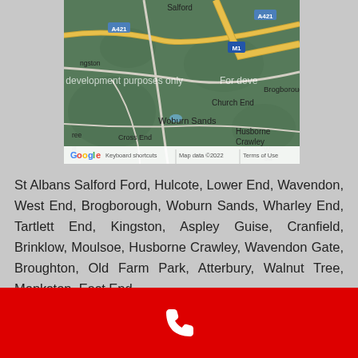[Figure (map): Google Maps screenshot showing the area around Woburn Sands, including roads A421 and M1, and locations: Salford, Brogborough, Cross End, Church End, Woburn Sands, Husborne Crawley, Kingston. Watermark: 'For development purposes only'. Map data ©2022.]
St Albans Salford Ford, Hulcote, Lower End, Wavendon, West End, Brogborough, Woburn Sands, Wharley End, Tartlett End, Kingston, Aspley Guise, Cranfield, Brinklow, Moulsoe, Husborne Crawley, Wavendon Gate, Broughton, Old Farm Park, Atterbury, Walnut Tree, Monkston, East End,
[Figure (infographic): White phone/call icon on red background bar at the bottom of the page.]